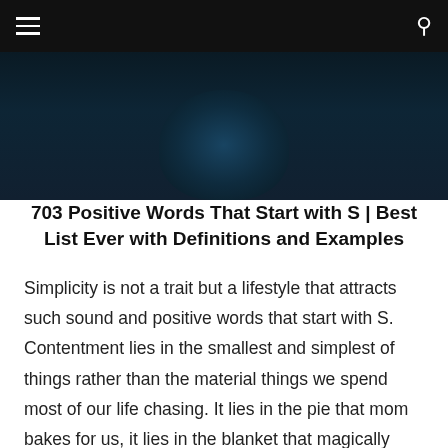≡  🔍
[Figure (photo): Dark background hero image with a partially visible silhouette/head figure in dark teal tones]
703 Positive Words That Start with S | Best List Ever with Definitions and Examples
Simplicity is not a trait but a lifestyle that attracts such sound and positive words that start with S. Contentment lies in the smallest and simplest of things rather than the material things we spend most of our life chasing. It lies in the pie that mom bakes for us, it lies in the blanket that magically appears over us in the middle of the night and it lies in